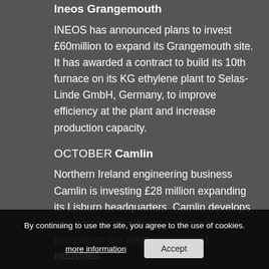Ineos Grangemouth
INEOS has announced plans to invest £60million to expand its Grangemouth site. It has awarded a contract to build its 10th furnace on its KG ethylene plant to Selas-Linde GmbH, Germany, to improve efficiency at the plant and increase production capacity.
OCTOBER
Camlin
Northern Ireland engineering business Camlin is investing £28 million expanding its Lisburn headquarters. Camlin develops and supplies engineering solutions, primarily to the electricity and gas industries.